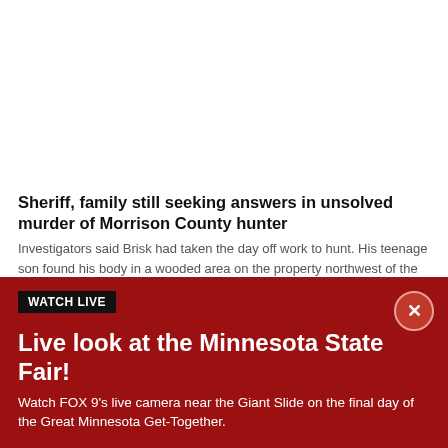[Figure (photo): Image placeholder area above article (white/empty)]
Sheriff, family still seeking answers in unsolved murder of Morrison County hunter
Investigators said Brisk had taken the day off work to hunt. His teenage son found his body in a wooded area on the property northwest of the intersection of Hawthorne Road and Jewel Road, east of Little Falls.
Brisk had taken the day off work to deer hunt before
WATCH LIVE
Live look at the Minnesota State Fair!
Watch FOX 9's live camera near the Giant Slide on the final day of the Great Minnesota Get-Together.